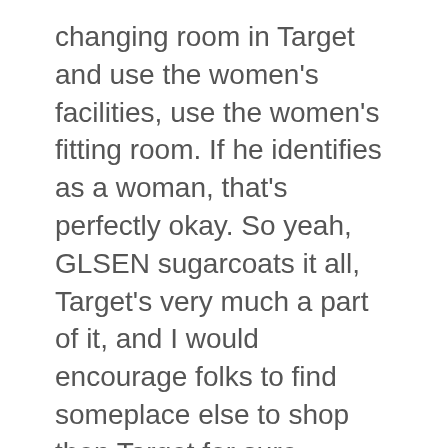changing room in Target and use the women's facilities, use the women's fitting room. If he identifies as a woman, that's perfectly okay. So yeah, GLSEN sugarcoats it all, Target's very much a part of it, and I would encourage folks to find someplace else to shop then Target for sure. Because they are very much out there. I've been in, not been in but been observing various gay pride events and Target sometimes has a float or you have Target employees who are marching. You see the big Target that they're proud to identify themselves as Target employees but they're marching in those parades and have tables up in gay pride festivals and such.
Gary Dull:          Well, in addition to those who sponsor GLSEN also the largest homosexual